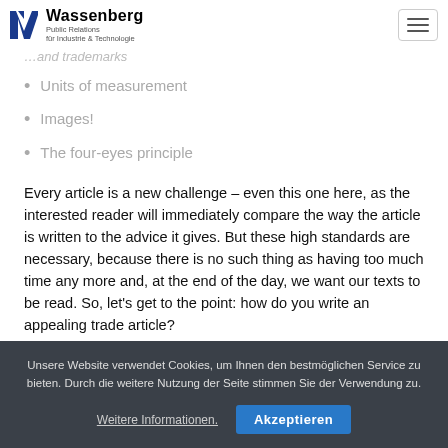Wassenberg Public Relations für Industrie & Technologie
Units of measurement
Images!
The four-eyes principle
Every article is a new challenge – even this one here, as the interested reader will immediately compare the way the article is written to the advice it gives. But these high standards are necessary, because there is no such thing as having too much time any more and, at the end of the day, we want our texts to be read. So, let's get to the point: how do you write an appealing trade article?
Unsere Website verwendet Cookies, um Ihnen den bestmöglichen Service zu bieten. Durch die weitere Nutzung der Seite stimmen Sie der Verwendung zu.
Weitere Informationen.  Akzeptieren